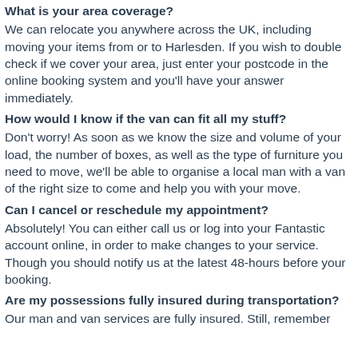What is your area coverage?
We can relocate you anywhere across the UK, including moving your items from or to Harlesden. If you wish to double check if we cover your area, just enter your postcode in the online booking system and you'll have your answer immediately.
How would I know if the van can fit all my stuff?
Don't worry! As soon as we know the size and volume of your load, the number of boxes, as well as the type of furniture you need to move, we'll be able to organise a local man with a van of the right size to come and help you with your move.
Can I cancel or reschedule my appointment?
Absolutely! You can either call us or log into your Fantastic account online, in order to make changes to your service. Though you should notify us at the latest 48-hours before your booking.
Are my possessions fully insured during transportation?
Our man and van services are fully insured. Still, remember